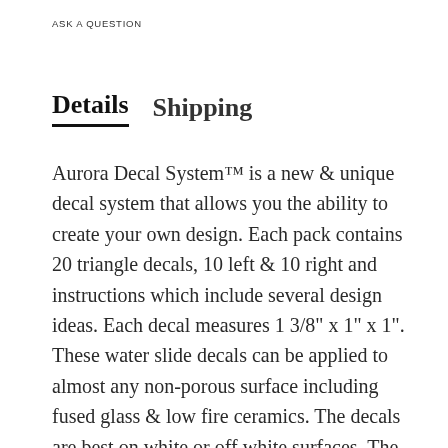ASK A QUESTION
Details   Shipping
Aurora Decal System™ is a new & unique decal system that allows you the ability to create your own design. Each pack contains 20 triangle decals, 10 left & 10 right and instructions which include several design ideas. Each decal measures 1 3/8" x 1" x 1". These water slide decals can be applied to almost any non-porous surface including fused glass & low fire ceramics. The decals are best on white or off white surfaces. The images will appear translucent on clear glass. Use the included design ideas or create some of your own. 20